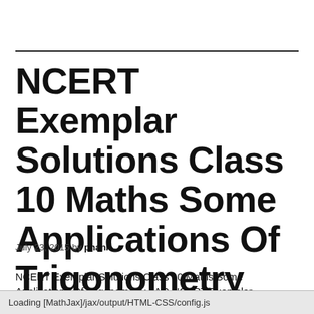NCERT Exemplar Solutions Class 10 Maths Some Applications Of Trigonometry LAQ
July 23, 2015 by phani
NCERT Exemplar Solutions Class 10 Maths Some Applications Of Trigonometry LAQ NCERT Exemplar Solutions Class 10 Maths Some Applications Of Trigonometry LAQ NCERT Exemplar Solutions Class 10 Maths some applications Of
Loading [MathJax]/jax/output/HTML-CSS/config.js